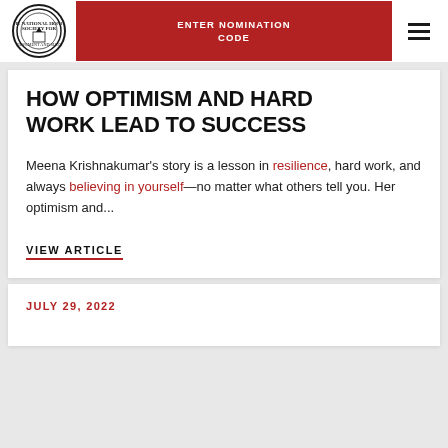ENTER NOMINATION CODE
HOW OPTIMISM AND HARD WORK LEAD TO SUCCESS
Meena Krishnakumar's story is a lesson in resilience, hard work, and always believing in yourself—no matter what others tell you. Her optimism and...
VIEW ARTICLE
JULY 29, 2022